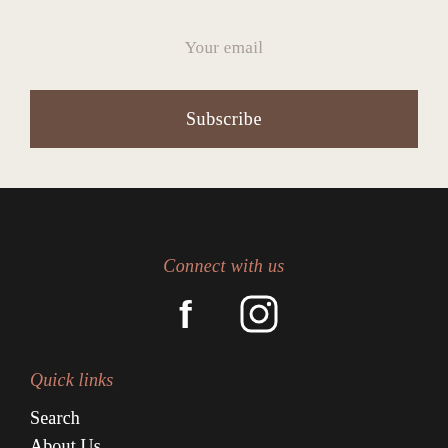Your email
Subscribe
Connect with us
[Figure (illustration): Facebook and Instagram social media icons in white on dark background]
Quick links
Search
About Us